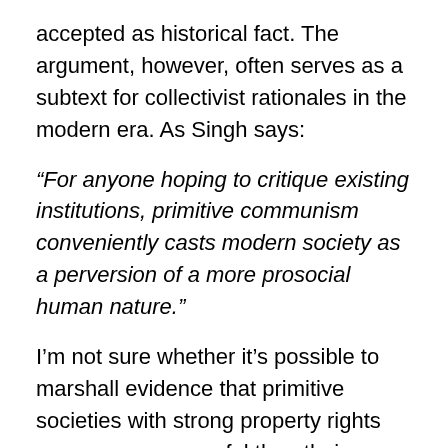accepted as historical fact. The argument, however, often serves as a subtext for collectivist rationales in the modern era. As Singh says:
“For anyone hoping to critique existing institutions, primitive communism conveniently casts modern society as a perversion of a more prosocial human nature.”
I’m not sure whether it’s possible to marshall evidence that primitive societies with strong property rights were more successful than their collectivist counterparts. That would be a good topic of further research, but it would be tough to control for the difficulties posed by varying natural conditions faced by these societies.
On the other hand, suppose we stipulate that property rights developed as a consequence of, or in tandem with,